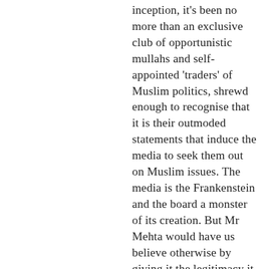inception, it's been no more than an exclusive club of opportunistic mullahs and self-appointed 'traders' of Muslim politics, shrewd enough to recognise that it is their outmoded statements that induce the media to seek them out on Muslim issues. The media is the Frankenstein and the board a monster of its creation. But Mr Mehta would have us believe otherwise by giving it the legitimacy it neither deserves nor commands.